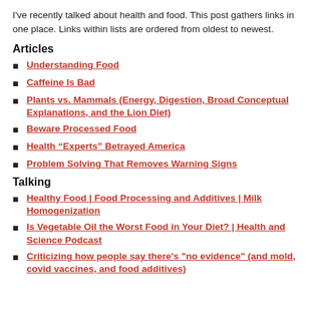I've recently talked about health and food. This post gathers links in one place. Links within lists are ordered from oldest to newest.
Articles
Understanding Food
Caffeine Is Bad
Plants vs. Mammals (Energy, Digestion, Broad Conceptual Explanations, and the Lion Diet)
Beware Processed Food
Health “Experts” Betrayed America
Problem Solving That Removes Warning Signs
Talking
Healthy Food | Food Processing and Additives | Milk Homogenization
Is Vegetable Oil the Worst Food in Your Diet? | Health and Science Podcast
Criticizing how people say there's "no evidence" (and mold, covid vaccines, and food additives)